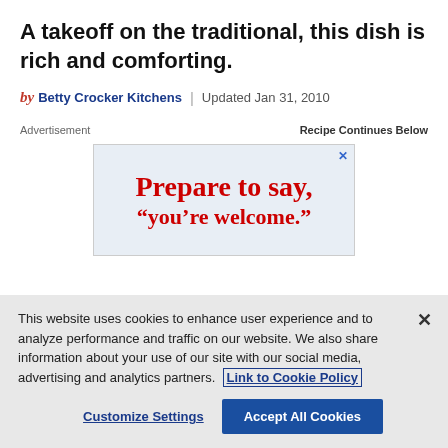A takeoff on the traditional, this dish is rich and comforting.
by Betty Crocker Kitchens | Updated Jan 31, 2010
Advertisement                         Recipe Continues Below
[Figure (screenshot): Advertisement banner showing 'Prepare to say, "you're welcome"' in red serif font on a light background, with a close X button.]
This website uses cookies to enhance user experience and to analyze performance and traffic on our website. We also share information about your use of our site with our social media, advertising and analytics partners. Link to Cookie Policy
Customize Settings   Accept All Cookies